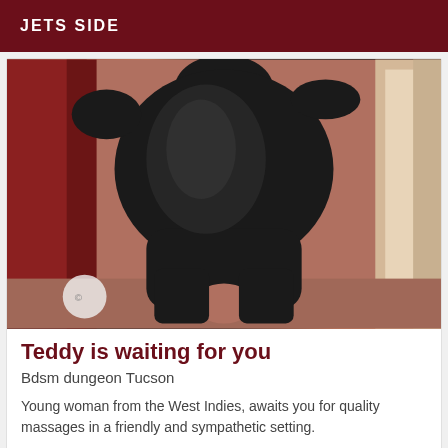JETS SIDE
[Figure (photo): Person wearing a tight black skirt, viewed from behind, standing in front of a mirror in a room with reddish curtains and a doorway visible.]
Teddy is waiting for you
Bdsm dungeon Tucson
Young woman from the West Indies, awaits you for quality massages in a friendly and sympathetic setting.
[Figure (photo): Partial view of a second listing card with VIP badge and a light-colored image.]